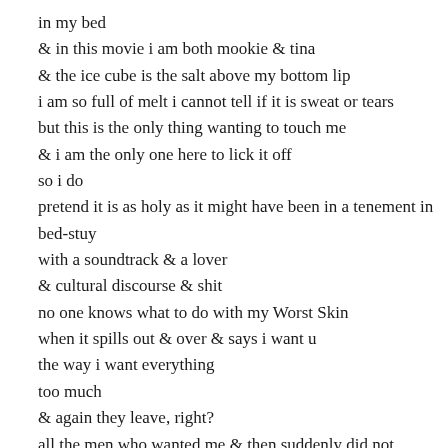in my bed
& in this movie i am both mookie & tina
& the ice cube is the salt above my bottom lip
i am so full of melt i cannot tell if it is sweat or tears
but this is the only thing wanting to touch me
& i am the only one here to lick it off
so i do
pretend it is as holy as it might have been in a tenement in bed-stuy
with a soundtrack & a lover
& cultural discourse & shit
no one knows what to do with my Worst Skin
when it spills out & over & says i want u
the way i want everything
too much
& again they leave, right?
all the men who wanted me & then suddenly did not